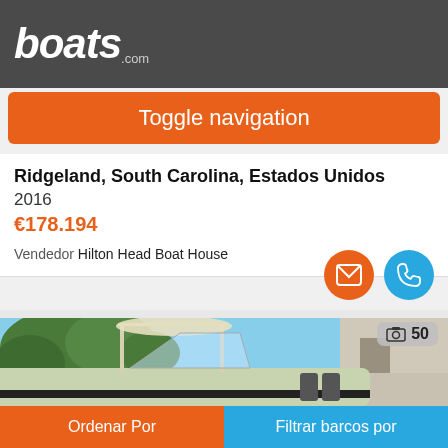boats.com
Toggle navigation
Ridgeland, South Carolina, Estados Unidos
2016
€178.194
Vendedor Hilton Head Boat House
[Figure (photo): Boat listing photo showing a white center console boat with T-top cover, parked outdoors near trees and a building. Photo count badge showing 50 photos.]
Ordenar Por    Filtrar barcos por